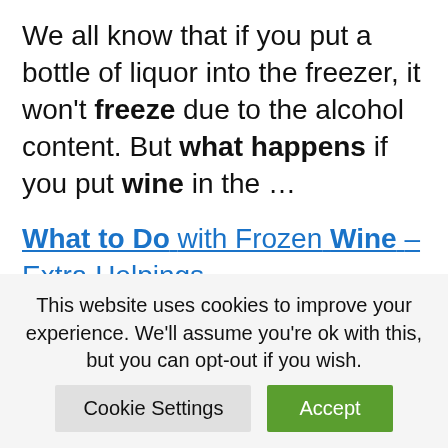We all know that if you put a bottle of liquor into the freezer, it won't freeze due to the alcohol content. But what happens if you put wine in the …
What to Do with Frozen Wine – Extra Helpings
10 Jun 2021 … Alcohol and water have different freezing temperatures. As the temperature of your bottle drops lower and lower, the
This website uses cookies to improve your experience. We'll assume you're ok with this, but you can opt-out if you wish.